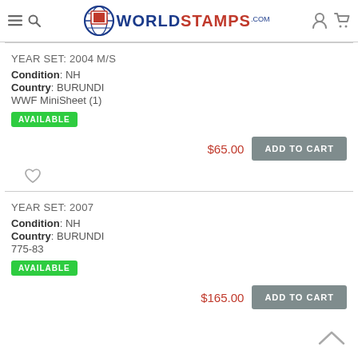WorldStamps.com
YEAR SET: 2004 M/S
Condition: NH
Country: BURUNDI
WWF MiniSheet (1)
AVAILABLE
$65.00  ADD TO CART
YEAR SET: 2007
Condition: NH
Country: BURUNDI
775-83
AVAILABLE
$165.00  ADD TO CART